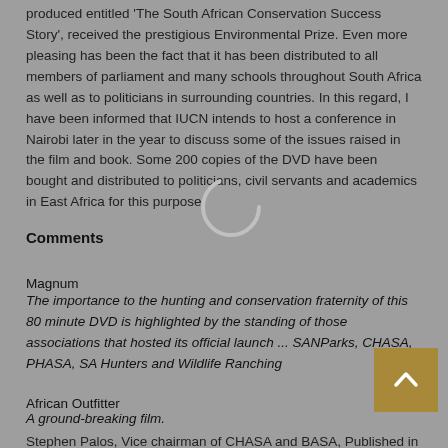produced entitled 'The South African Conservation Success Story', received the prestigious Environmental Prize. Even more pleasing has been the fact that it has been distributed to all members of parliament and many schools throughout South Africa as well as to politicians in surrounding countries. In this regard, I have been informed that IUCN intends to host a conference in Nairobi later in the year to discuss some of the issues raised in the film and book. Some 200 copies of the DVD have been bought and distributed to politicians, civil servants and academics in East Africa for this purpose.
Comments
Magnum
The importance to the hunting and conservation fraternity of this 80 minute DVD is highlighted by the standing of those associations that hosted its official launch ... SANParks, CHASA, PHASA, SA Hunters and Wildlife Ranching
African Outfitter
A ground-breaking film.
Stephen Palos, Vice chairman of CHASA and BASA, Published in African Outfitter - May 2011 issue
An inspired script, breathtaking scenery and superb narration by world